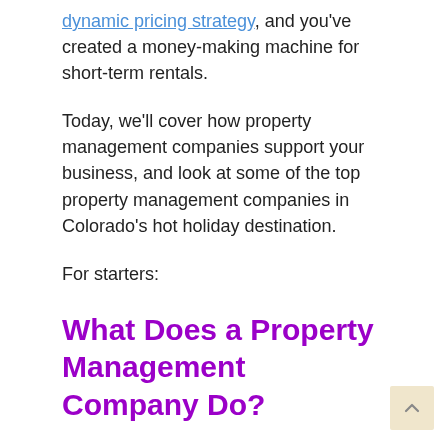dynamic pricing strategy, and you've created a money-making machine for short-term rentals.
Today, we'll cover how property management companies support your business, and look at some of the top property management companies in Colorado's hot holiday destination.
For starters:
What Does a Property Management Company Do?
Property management companies make landlords' lives easier and offer comfort to tenants. How? By providing all these services: